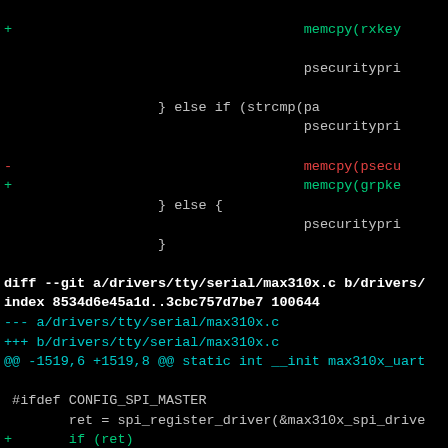diff code snippet showing git diff output for drivers/tty/serial/max310x.c and mvebu-uart.c with added/removed lines
[Figure (screenshot): Terminal showing git diff output with green added lines, red removed lines, and cyan diff headers on black background]